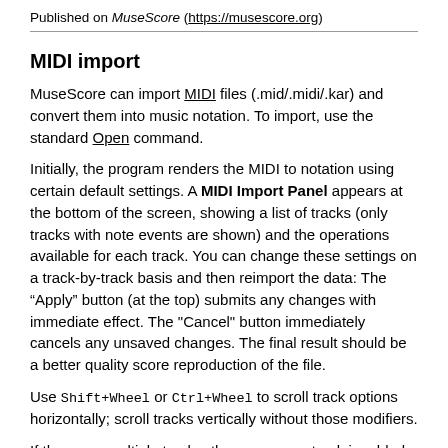Published on MuseScore (https://musescore.org)
MIDI import
MuseScore can import MIDI files (.mid/.midi/.kar) and convert them into music notation. To import, use the standard Open command.
Initially, the program renders the MIDI to notation using certain default settings. A MIDI Import Panel appears at the bottom of the screen, showing a list of tracks (only tracks with note events are shown) and the operations available for each track. You can change these settings on a track-by-track basis and then reimport the data: The “Apply” button (at the top) submits any changes with immediate effect. The "Cancel" button immediately cancels any unsaved changes. The final result should be a better quality score reproduction of the file.
Use Shift+Wheel or Ctrl+Wheel to scroll track options horizontally; scroll tracks vertically without those modifiers.
If there are multiple tracks, then one more track is added at the top of the list to select all tracks at once.